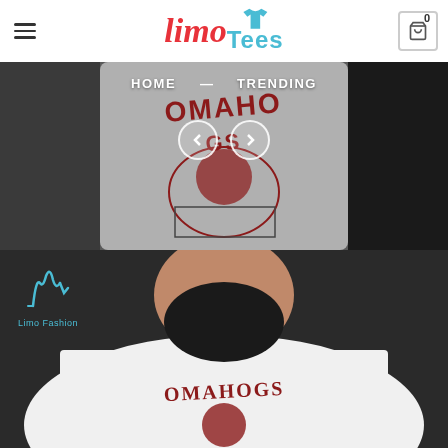[Figure (logo): LimoTees logo with red cursive 'limo' text and cyan t-shirt icon with 'Tees' text]
[Figure (photo): Top hero image: person wearing gray t-shirt with OMAHOGS baseball mascot design, cropped to chest area]
HOME   —   TRENDING
[Figure (photo): Bottom hero image: bearded man wearing white t-shirt with OMAHOGS baseball mascot design, dark background. Limo Fashion watermark in top left.]